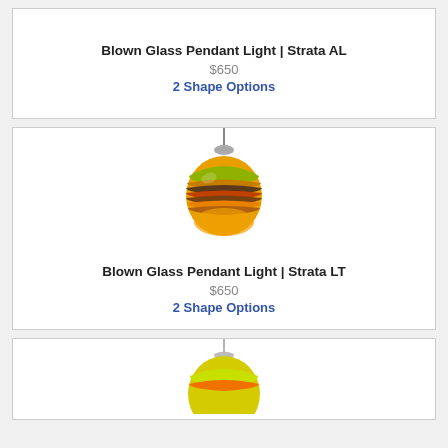Blown Glass Pendant Light | Strata AL
$650
2 Shape Options
[Figure (photo): A round blown glass pendant light with layered amber, brown, and green striped glass, hanging from a metal cord — Strata LT model]
Blown Glass Pendant Light | Strata LT
$650
2 Shape Options
[Figure (photo): Partial view of another blown glass pendant light at the bottom of the page, showing yellow-green glass with stripe pattern]